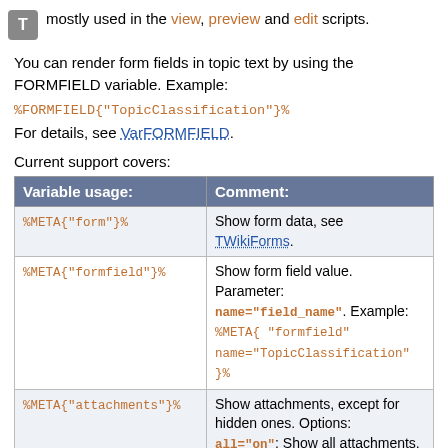mostly used in the view, preview and edit scripts.
You can render form fields in topic text by using the FORMFIELD variable. Example:
%FORMFIELD{"TopicClassification"}%
For details, see VarFORMFIELD.
Current support covers:
| Variable usage: | Comment: |
| --- | --- |
| %META{"form"}% | Show form data, see TWikiForms. |
| %META{"formfield"}% | Show form field value. Parameter: name="field_name". Example: %META{ "formfield" name="TopicClassification" }% |
| %META{"attachments"}% | Show attachments, except for hidden ones. Options: all="on": Show all attachments, including hidden ones. |
| %META{"moved"}% | Details of any topic moves. |
| %META{"parent"}% | Show topic parent. Options: |